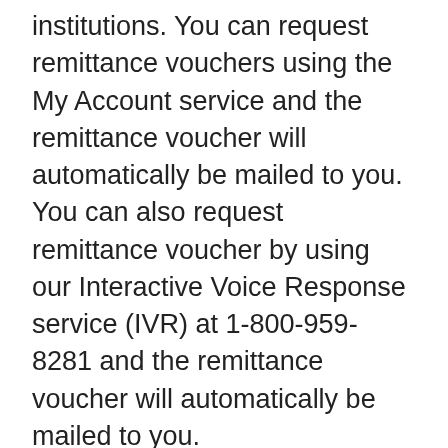institutions. You can request remittance vouchers using the My Account service and the remittance voucher will automatically be mailed to you. You can also request remittance voucher by using our Interactive Voice Response service (IVR) at 1-800-959-8281 and the remittance voucher will automatically be mailed to you.
For information on other ways to make a payment, see Tax payments.
Benefits and credits